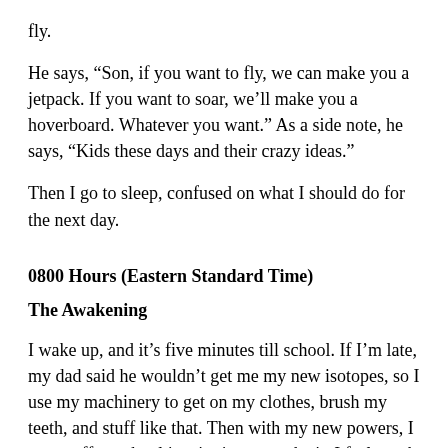fly.
He says, “Son, if you want to fly, we can make you a jetpack. If you want to soar, we’ll make you a hoverboard. Whatever you want.” As a side note, he says, “Kids these days and their crazy ideas.”
Then I go to sleep, confused on what I should do for the next day.
0800 Hours (Eastern Standard Time)
The Awakening
I wake up, and it’s five minutes till school. If I’m late, my dad said he wouldn’t get me my new isotopes, so I use my machinery to get on my clothes, brush my teeth, and stuff like that. Then with my new powers, I zoom off to school just in time to make it. I feel numb from the tingling and coldness of my special machine. Now it’s one minute. I use my hoverboard to